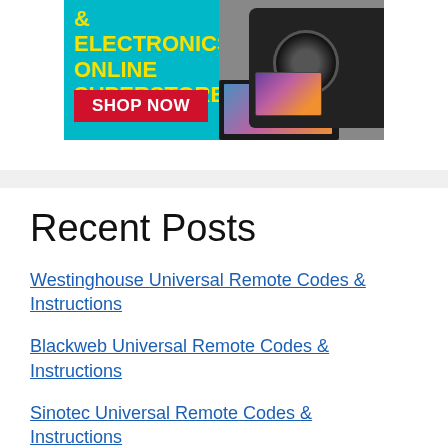[Figure (illustration): Advertisement banner for an electronics online superstore with cyan background, yellow bold text reading '& ELECTRONICS ONLINE SUPERSTORE', a red button with white text 'SHOP NOW', and a DSLR camera and laptop graphic on the right.]
Recent Posts
Westinghouse Universal Remote Codes & Instructions
Blackweb Universal Remote Codes & Instructions
Sinotec Universal Remote Codes & Instructions